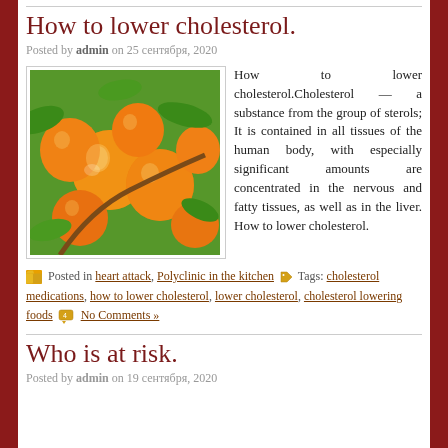How to lower cholesterol.
Posted by admin on 25 сентября, 2020
[Figure (photo): Photo of orange apricots on a tree with green leaves]
How to lower cholesterol.Cholesterol — a substance from the group of sterols; It is contained in all tissues of the human body, with especially significant amounts are concentrated in the nervous and fatty tissues, as well as in the liver. How to lower cholesterol.
Posted in heart attack, Polyclinic in the kitchen  Tags: cholesterol medications, how to lower cholesterol, lower cholesterol, cholesterol lowering foods  No Comments »
Who is at risk.
Posted by admin on 19 сентября, 2020